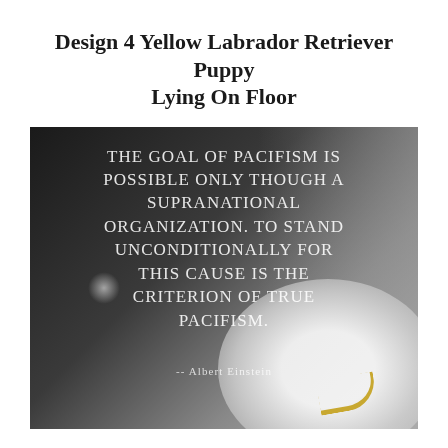Design 4 Yellow Labrador Retriever Puppy Lying On Floor
[Figure (photo): Dark blurred background photo (appears to be a dog lying on floor) overlaid with a large white uppercase quote text: 'The goal of pacifism is possible only though a supranational organization. To stand unconditionally for this cause is the criterion of true pacifism. -- Albert Einstein']